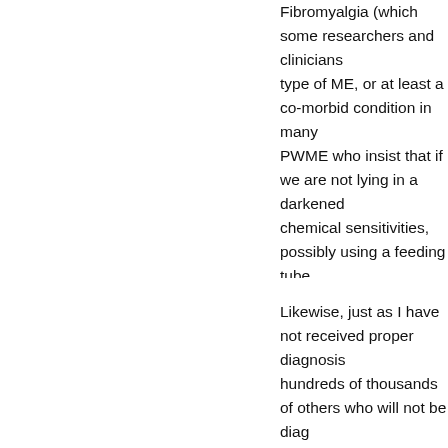Fibromyalgia (which some researchers and clinicians type of ME, or at least a co-morbid condition in many PWME who insist that if we are not lying in a darkened chemical sensitivities, possibly using a feeding tube, have TRUE ME. This seems little different to me than look sick'. I am very sick. I was very sick from around th diagnosed with Fibromyalgia. Exercise Intolerance w that time onward. I never benefited from exercise. I a payback days of agony and exhaustion. I have tried to possible, but there often seems a kind of superior atti have been engaged in all this for over a decade and w narrowed the criteria and conditions in their minds th going to be diagnosed, let alone treated properly. If th millions of people with this illness worldwide, then th wide variety of symptoms WITHIN THE BASIC CRITER ICC and CCC criteria, although no doctor will even dis
Likewise, just as I have not received proper diagnosis hundreds of thousands of others who will not be diag at once patients are angry about the simplifying of th process, and angry about not having been diagnosed